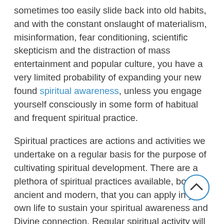sometimes too easily slide back into old habits, and with the constant onslaught of materialism, misinformation, fear conditioning, scientific skepticism and the distraction of mass entertainment and popular culture, you have a very limited probability of expanding your new found spiritual awareness, unless you engage yourself consciously in some form of habitual and frequent spiritual practice.
Spiritual practices are actions and activities we undertake on a regular basis for the purpose of cultivating spiritual development. There are a plethora of spiritual practices available, both ancient and modern, that you can apply in your own life to sustain your spiritual awareness and Divine connection. Regular spiritual activity will fine-tune your alignment with the Divine Self, improve the clarity of your inner...